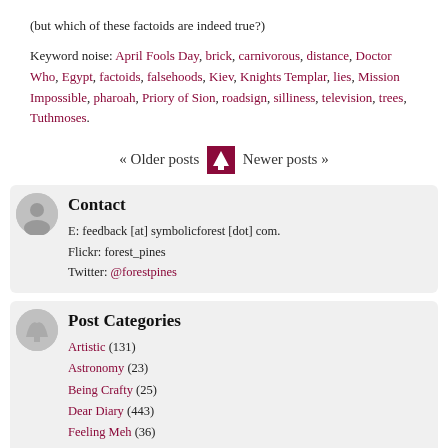(but which of these factoids are indeed true?)
Keyword noise: April Fools Day, brick, carnivorous, distance, Doctor Who, Egypt, factoids, falsehoods, Kiev, Knights Templar, lies, Mission Impossible, pharoah, Priory of Sion, roadsign, silliness, television, trees, Tuthmoses.
« Older posts  Newer posts »
Contact
E: feedback [at] symbolicforest [dot] com.
Flickr: forest_pines
Twitter: @forestpines
Post Categories
Artistic (131)
Astronomy (23)
Being Crafty (25)
Dear Diary (443)
Feeling Meh (36)
Geekery (76)